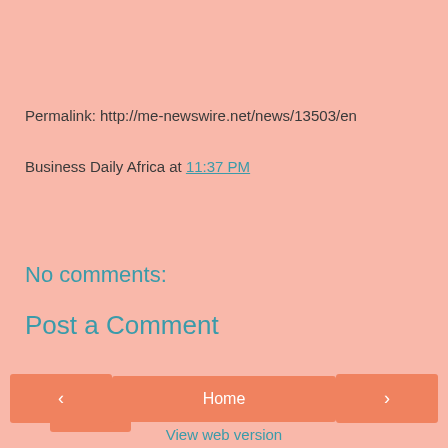Permalink: http://me-newswire.net/news/13503/en
Business Daily Africa at 11:37 PM
Share
No comments:
Post a Comment
Home
View web version
Powered by Blogger.